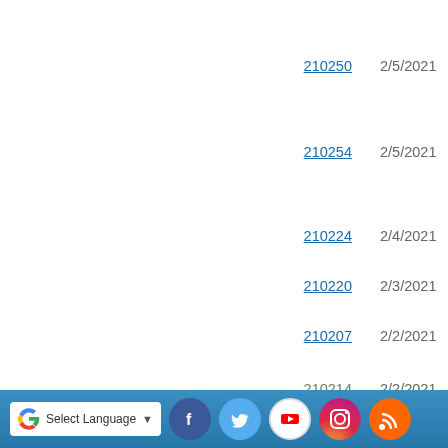210250    2/5/2021
210254    2/5/2021
210224    2/4/2021
210220    2/3/2021
210207    2/2/2021
210214    2/2/2021
Select Language | ▼  [Facebook] [Twitter] [YouTube] [Instagram] [RSS]